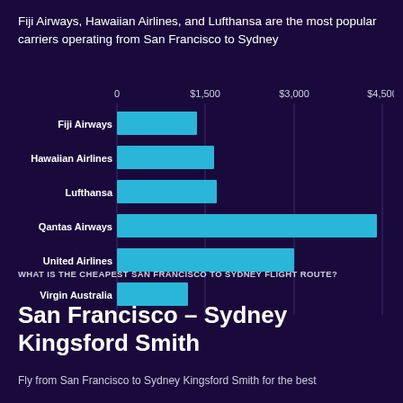Fiji Airways, Hawaiian Airlines, and Lufthansa are the most popular carriers operating from San Francisco to Sydney
[Figure (bar-chart): Airlines by price (San Francisco to Sydney)]
WHAT IS THE CHEAPEST SAN FRANCISCO TO SYDNEY FLIGHT ROUTE?
San Francisco – Sydney Kingsford Smith
Fly from San Francisco to Sydney Kingsford Smith for the best